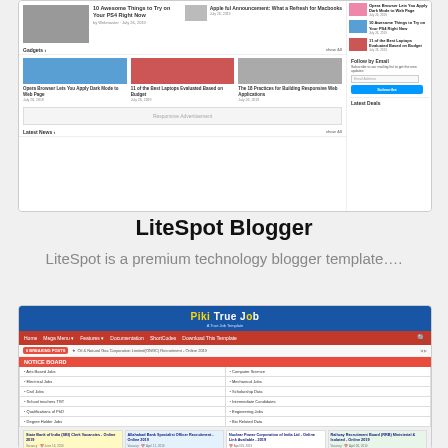[Figure (screenshot): LiteSpot Blogger template screenshot showing a technology blog layout with article thumbnails, gadgets section, sidebar with email subscription, and Latest News section]
LiteSpot Blogger
LiteSpot is a premium technology blogger template….
[Figure (screenshot): Piki True Job blogger template screenshot showing a job portal with blue header, red navigation bar, notice board with job categories grid, and job listing cards]